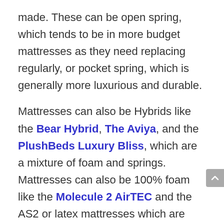made. These can be open spring, which tends to be in more budget mattresses as they need replacing regularly, or pocket spring, which is generally more luxurious and durable.
Mattresses can also be Hybrids like the Bear Hybrid, The Aviya, and the PlushBeds Luxury Bliss, which are a mixture of foam and springs. Mattresses can also be 100% foam like the Molecule 2 AirTEC and the AS2 or latex mattresses which are 100% latex. There is also a product type called bed in a box where mattresses have been rolled up, so they are easy to place where you then allow